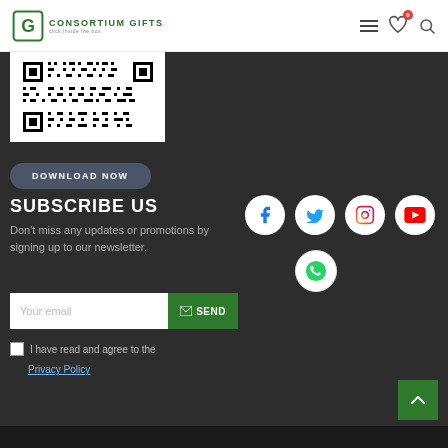Consortium Gifts — click inside the box
[Figure (other): QR code image in white box on dark background]
DOWNLOAD NOW
SUBSCRIBE US
Don't miss any updates or promotions by signing up to our newsletter.
Your email  SEND
I have read and agree to the Privacy Policy
[Figure (infographic): Social media icons: Facebook, Twitter, Instagram, YouTube, WhatsApp in circular white buttons]